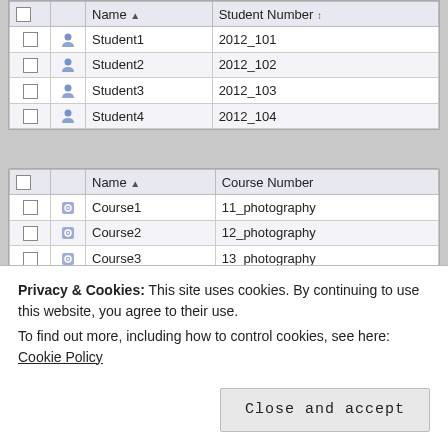|  |  | Name ▲ | Student Number ↕ |
| --- | --- | --- | --- |
| ☐ | 🔵 | Student1 | 2012_101 |
| ☐ | 🔵 | Student2 | 2012_102 |
| ☐ | 🔵 | Student3 | 2012_103 |
| ☐ | 🔵 | Student4 | 2012_104 |
|  |  | Name ▲ | Course Number |
| --- | --- | --- | --- |
| ☐ | ⚙ | Course1 | 11_photography |
| ☐ | ⚙ | Course2 | 12_photography |
| ☐ | ⚙ | Course3 | 13_photography |
Privacy & Cookies: This site uses cookies. By continuing to use this website, you agree to their use.
To find out more, including how to control cookies, see here: Cookie Policy
Close and accept